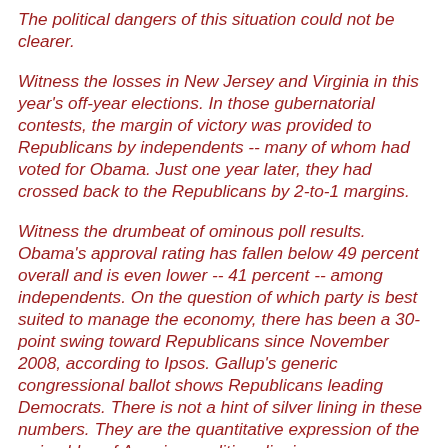The political dangers of this situation could not be clearer.
Witness the losses in New Jersey and Virginia in this year's off-year elections. In those gubernatorial contests, the margin of victory was provided to Republicans by independents -- many of whom had voted for Obama. Just one year later, they had crossed back to the Republicans by 2-to-1 margins.
Witness the drumbeat of ominous poll results. Obama's approval rating has fallen below 49 percent overall and is even lower -- 41 percent -- among independents. On the question of which party is best suited to manage the economy, there has been a 30-point swing toward Republicans since November 2008, according to Ipsos. Gallup's generic congressional ballot shows Republicans leading Democrats. There is not a hint of silver lining in these numbers. They are the quantitative expression of the swing bloc of American politics slipping away...